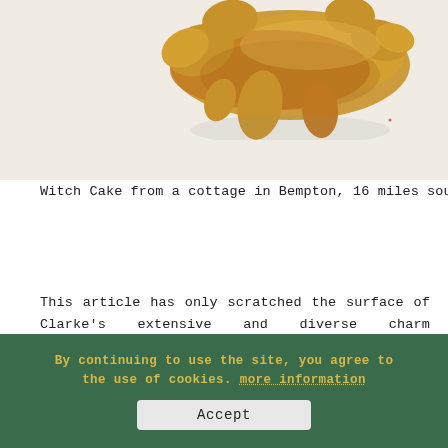[Figure (photo): Photograph of a Witch Cake — a golden-brown irregular shaped object resembling a gnarled root, photographed against a white background.]
Witch Cake from a cottage in Bempton, 16 miles south of Scarborough, 1850 ©Scarborough Museums Trust
This article has only scratched the surface of Clarke's extensive and diverse charm collection, and covered a mere fraction of the charms designed to protect against witchcraft and evil spirits. The collection certainly warrants further in-depth study and discussion. The Clarke Collection is part of the Scarborough Collections, owned by Scarborough Borough Council and cared for by
By continuing to use the site, you agree to the use of cookies. more information
Accept